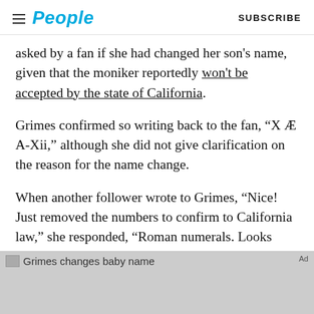People | SUBSCRIBE
asked by a fan if she had changed her son's name, given that the moniker reportedly won't be accepted by the state of California.
Grimes confirmed so writing back to the fan, “X Æ A-Xii,” although she did not give clarification on the reason for the name change.
When another follower wrote to Grimes, “Nice! Just removed the numbers to confirm to California law,” she responded, “Roman numerals. Looks better tbh.”
[Figure (photo): Grimes changes baby name - advertisement image placeholder with grey background]